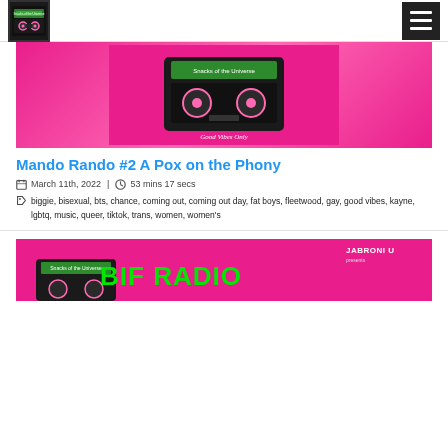Logo and navigation hamburger menu
[Figure (photo): Pink cassette tape artwork with 'Good Vibes Only' text on hot pink background]
Mando Rando #2 A Pox on the Phony
March 11th, 2022  |  53 mins 17 secs
biggie, bisexual, bts, chance, coming out, coming out day, fat boys, fleetwood, gay, good vibes, kayne, lgbtq, music, queer, tiktok, trans, women, women's
[Figure (photo): Bif Radio logo with cassette tape on pink background, Jabroni U text in corner]